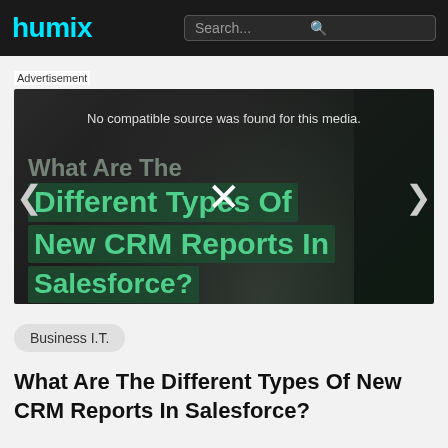humix | Search...
Advertisement
[Figure (screenshot): Video thumbnail showing text overlay: 'What Are The Different Types Of New CRM Reports In Salesforce?' with error message 'No compatible source was found for this media.' and an X close button, on a dark background.]
Business I.T.
What Are The Different Types Of New CRM Reports In Salesforce?